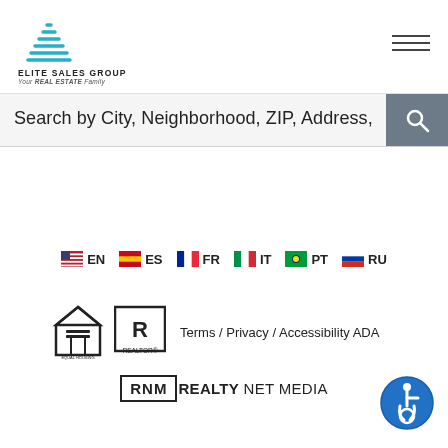[Figure (logo): Elite Sales Group logo with building icon and text 'ELITE SALES GROUP Your REAL ESTATE Family']
[Figure (other): Hamburger menu icon (three horizontal lines)]
Search by City, Neighborhood, ZIP, Address,
[Figure (other): Search icon (magnifying glass) on grey background]
🇺🇸 EN   🇪🇸 ES   🇫🇷 FR   🇮🇹 IT   🇧🇷 PT   🇷🇺 RU
[Figure (logo): Equal Housing Opportunity logo and REALTOR logo]
Terms / Privacy / Accessibility ADA
[Figure (logo): RNM REALTY NET MEDIA logo]
[Figure (other): Accessibility ADA icon (blue circle with wheelchair symbol)]